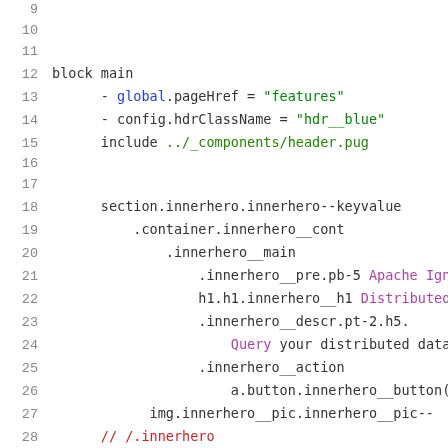[Figure (screenshot): Source code editor showing Pug/Jade template code with line numbers 9-30. Lines show block main with global and config variable assignments and include statement, followed by section.innerhero block with nested container and component elements.]